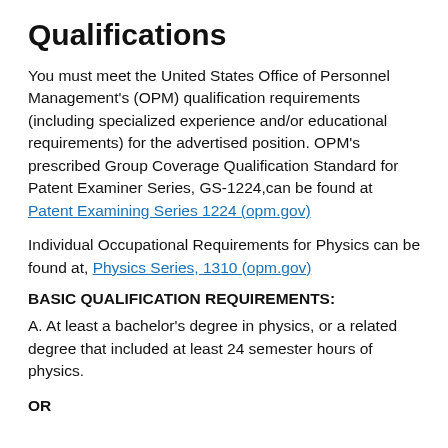Qualifications
You must meet the United States Office of Personnel Management's (OPM) qualification requirements (including specialized experience and/or educational requirements) for the advertised position. OPM's prescribed Group Coverage Qualification Standard for Patent Examiner Series, GS-1224,can be found at Patent Examining Series 1224 (opm.gov)
Individual Occupational Requirements for Physics can be found at, Physics Series, 1310 (opm.gov)
BASIC QUALIFICATION REQUIREMENTS:
A. At least a bachelor's degree in physics, or a related degree that included at least 24 semester hours of physics.
OR